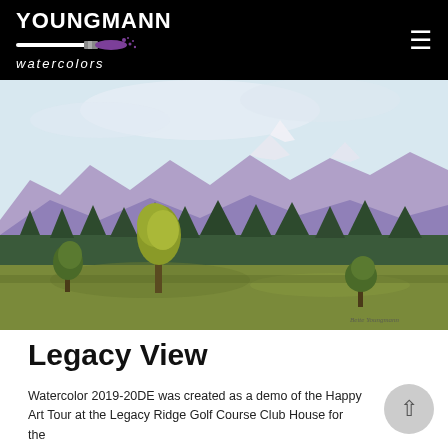YOUNGMANN watercolors
[Figure (illustration): Watercolor painting titled 'Legacy View' showing purple mountains with snow-capped peaks in the background, a row of dark green evergreen trees in the middle ground, and three foreground trees (one tall yellow-green, one medium green-left, one shorter green-right) over a green meadow. Artist signature visible in lower right.]
Legacy View
Watercolor 2019-20DE was created as a demo of the Happy Art Tour at the Legacy Ridge Golf Course Club House for the